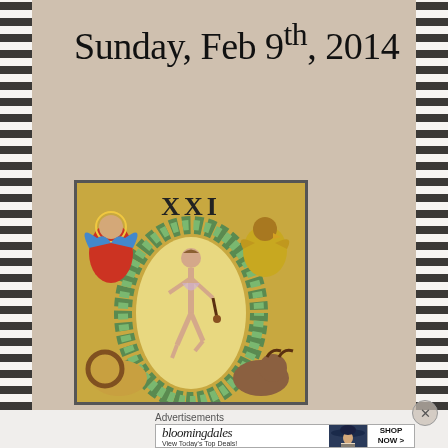Sunday, Feb 9th, 2014
[Figure (illustration): Tarot card XXI (The World) — medieval-style illustration showing a dancing figure in a laurel wreath oval, with an angel in red upper-left, an eagle upper-right, a lion and bull below, on a golden background.]
Advertisements
[Figure (other): Bloomingdales advertisement banner with text 'bloomingdales', 'View Today's Top Deals!', woman in hat, and 'SHOP NOW >' button.]